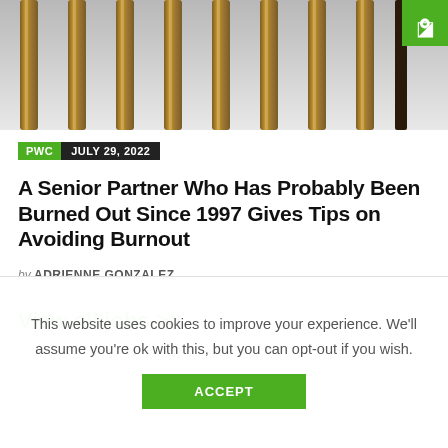[Figure (photo): Vertical ropes or wooden balusters photographed in close-up, with blurred background. Green logo badge with accessibility icon in top-right corner.]
PWC  JULY 29, 2022
A Senior Partner Who Has Probably Been Burned Out Since 1997 Gives Tips on Avoiding Burnout
by ADRIENNE GONZALEZ
View all jobs >>
This website uses cookies to improve your experience. We'll assume you're ok with this, but you can opt-out if you wish.
ACCEPT